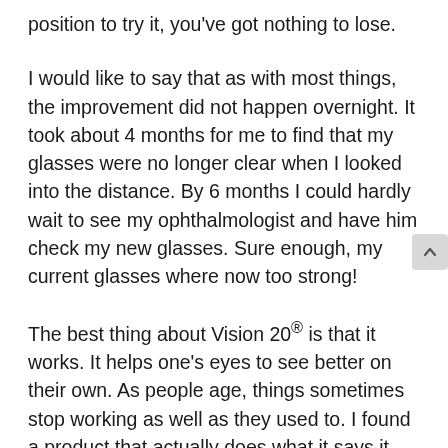position to try it, you've got nothing to lose.
I would like to say that as with most things, the improvement did not happen overnight. It took about 4 months for me to find that my glasses were no longer clear when I looked into the distance. By 6 months I could hardly wait to see my ophthalmologist and have him check my new glasses. Sure enough, my current glasses where now too strong!
The best thing about Vision 20® is that it works. It helps one's eyes to see better on their own. As people age, things sometimes stop working as well as they used to. I found a product that actually does what it says it will do. It's awesome.